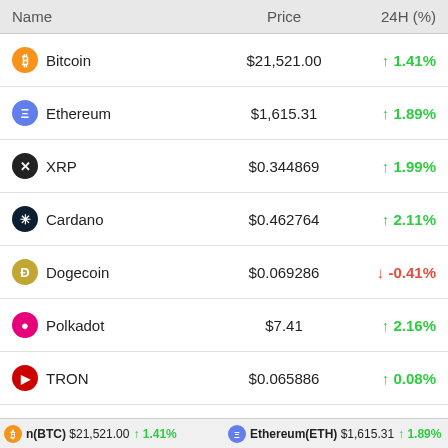| Name | Price | 24H (%) |
| --- | --- | --- |
| Bitcoin | $21,521.00 | ↑ 1.41% |
| Ethereum | $1,615.31 | ↑ 1.89% |
| XRP | $0.344869 | ↑ 1.99% |
| Cardano | $0.462764 | ↑ 2.11% |
| Dogecoin | $0.069286 | ↓ -0.41% |
| Polkadot | $7.41 | ↑ 2.16% |
| TRON | $0.065886 | ↑ 0.08% |
| Litecoin | $55.02 | ↑ 1.54% |
| Chainlink | $7.06 | ↑ 1.86% |
| Cosmos Hub | $10.64 | ↑ 3.32% |
n(BTC) $21,521.00 ↑ 1.41%   Ethereum(ETH) $1,615.31 ↑ 1.89%